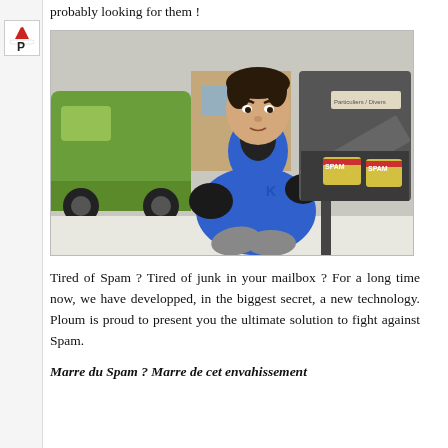probably looking for them !
[Figure (photo): A young man in a blue hoodie and black gloves crouching next to a metal mailbox/postbox that is open, with Spam cans visible inside. A green vehicle is in the background.]
Tired of Spam ? Tired of junk in your mailbox ? For a long time now, we have developped, in the biggest secret, a new technology. Ploum is proud to present you the ultimate solution to fight against Spam.
Marre du Spam ? Marre de cet envahissement